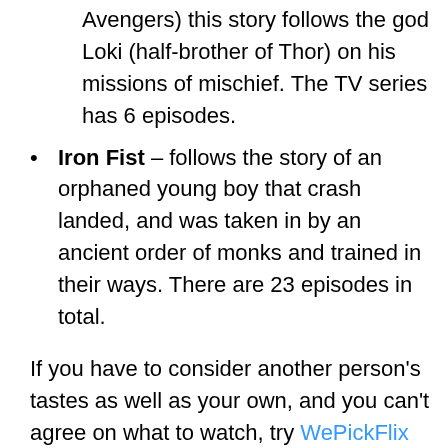Avengers) this story follows the god Loki (half-brother of Thor) on his missions of mischief. The TV series has 6 episodes.
Iron Fist – follows the story of an orphaned young boy that crash landed, and was taken in by an ancient order of monks and trained in their ways. There are 23 episodes in total.
If you have to consider another person's tastes as well as your own, and you can't agree on what to watch, try WePickFlix to find common interests from old school favourites and keep everyone happy.